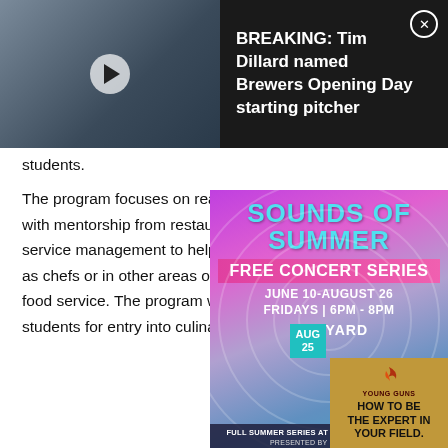[Figure (screenshot): Breaking news bar: video thumbnail of man in Brewers cap writing at desk, with text 'BREAKING: Tim Dillard named Brewers Opening Day starting pitcher' on dark background, close button top right]
students.
The program focuses on real world experiences – along with mentorship from restaurant staff – in both culinary and service management to help prepare students for careers as chefs or in other areas of restaurant management and food service. The program would also better prepare students for entry into culinary programs at MATC.
[Figure (infographic): Sounds of Summer Free Concert Series ad overlay: colorful gradient background with concentric circle pattern, text 'SOUNDS OF SUMMER', 'FREE CONCERT SERIES', 'JUNE 10-AUGUST 26', 'FRIDAYS | 6PM - 8PM', 'THE YARD', 'FULL SUMMER SERIES AT THEBAYSHORELIFE.COM!', 'PRESENTED BY OnMilwaukee']
[Figure (infographic): Young Guns side ad: gold/bronze background with text 'HOW TO BE THE EXPERT IN YOUR FIELD.' and Young Guns logo, AUG 25 teal date box]